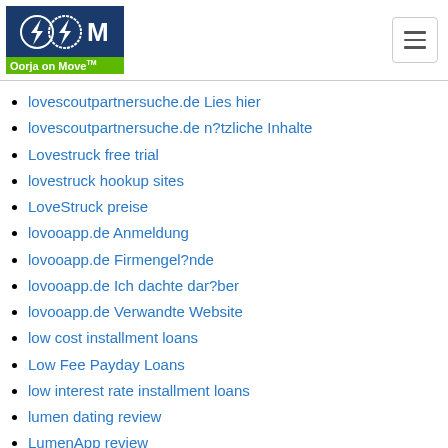[Figure (logo): Oorja on Move logo with lightning bolt icons on dark blue background and green bar below]
lovescoutpartnersuche.de Lies hier
lovescoutpartnersuche.de n?tzliche Inhalte
Lovestruck free trial
lovestruck hookup sites
LoveStruck preise
lovooapp.de Anmeldung
lovooapp.de Firmengel?nde
lovooapp.de Ich dachte dar?ber
lovooapp.de Verwandte Website
low cost installment loans
Low Fee Payday Loans
low interest rate installment loans
lumen dating review
LumenApp review
Lustagenten kostenlos
Lutheraner Dating test